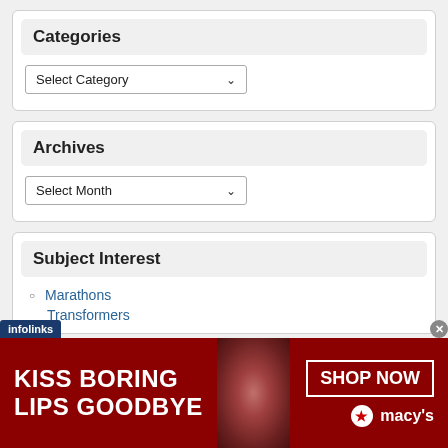Categories
Select Category
Archives
Select Month
Subject Interest
Marathons
Transformers
[Figure (screenshot): Advertisement banner: KISS BORING LIPS GOODBYE with SHOP NOW button and Macy's logo on dark red background with model photo]
infolinks